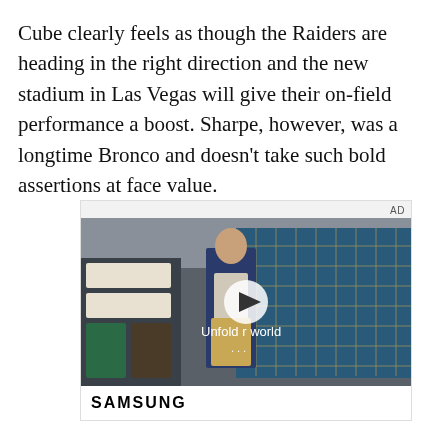Cube clearly feels as though the Raiders are heading in the right direction and the new stadium in Las Vegas will give their on-field performance a boost. Sharpe, however, was a longtime Bronco and doesn't take such bold assertions at face value.
[Figure (screenshot): Advertisement unit showing a Samsung video ad with a young man in a denim jacket standing in a store with blue tile walls. A play button is centered over the image with the text 'Unfold your world' and three dots below. The Samsung logo appears in the bottom white bar.]